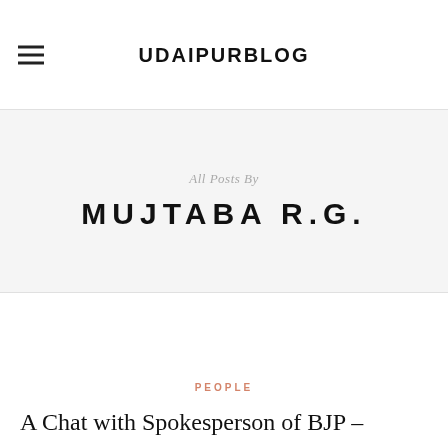UDAIPURBLOG
All Posts By
MUJTABA R.G.
PEOPLE
A Chat with Spokesperson of BJP –